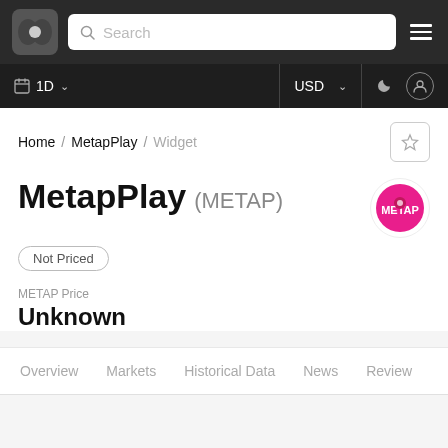MetapPlay (METAP) - Widget page on crypto data platform
Home / MetapPlay / Widget
MetapPlay (METAP)
Not Priced
METAP Price
Unknown
Overview   Markets   Historical Data   News   Review